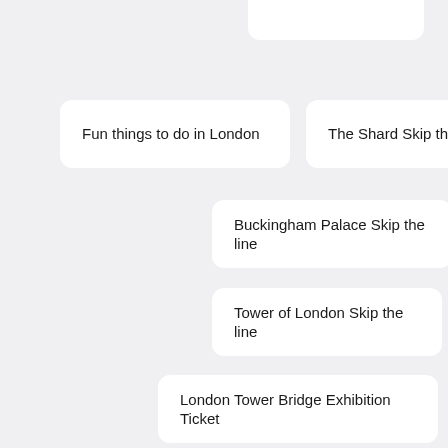Fun things to do in London
The Shard Skip the line
Buckingham Palace Skip the line
Tower of London Skip the line
London Tower Bridge Exhibition Ticket
London Eye Skip the Line Tickets
London Airports